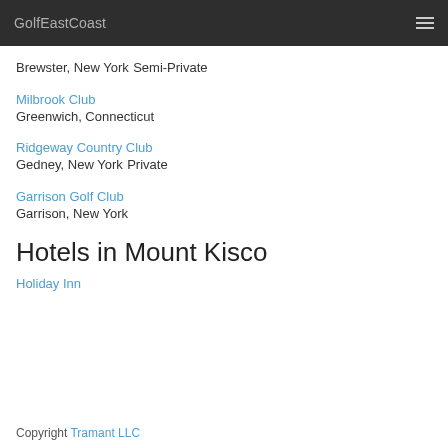GolfEastCoast
Brewster, New York
Semi-Private
Milbrook Club
Greenwich, Connecticut
Ridgeway Country Club
Gedney, New York
Private
Garrison Golf Club
Garrison, New York
Hotels in Mount Kisco
Holiday Inn
Copyright Tramant LLC